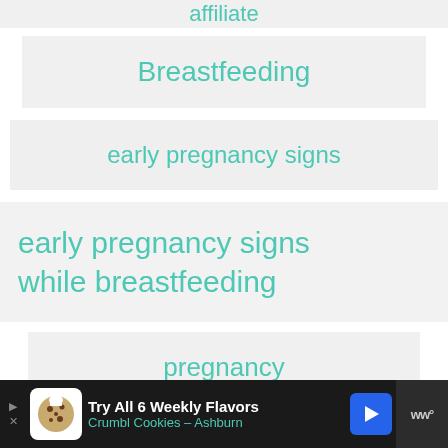affiliate
Breastfeeding
early pregnancy signs
early pregnancy signs while breastfeeding
pregnancy
pregnancy signs breastfeeding
[Figure (infographic): Advertisement banner for Crumbl Cookies - Try All 6 Weekly Flavors, Crumbl Cookies - Ashburn]